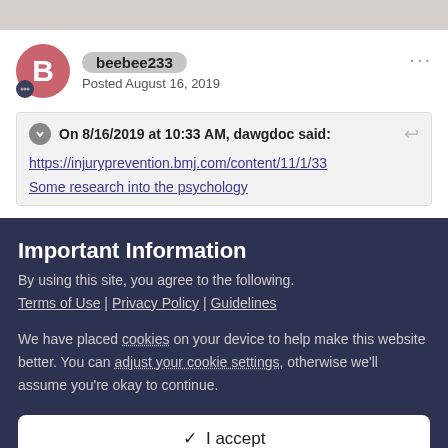beebee233
Posted August 16, 2019
On 8/16/2019 at 10:33 AM, dawgdoc said:
https://injuryprevention.bmj.com/content/11/1/33
Some research into the psychology
Important Information
By using this site, you agree to the following.
Terms of Use | Privacy Policy | Guidelines
We have placed cookies on your device to help make this website better. You can adjust your cookie settings, otherwise we'll assume you're okay to continue.
✓  I accept